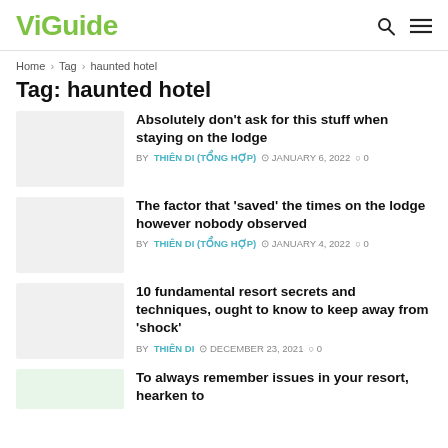ViGuide
Home > Tag > haunted hotel
Tag: haunted hotel
Absolutely don't ask for this stuff when staying on the lodge
BY THIÊN DI (TỔNG HỢP) · JANUARY 6, 2022 · 0
The factor that 'saved' the times on the lodge however nobody observed
BY THIÊN DI (TỔNG HỢP) · JANUARY 4, 2022 · 0
10 fundamental resort secrets and techniques, ought to know to keep away from 'shock'
BY THIÊN DI · DECEMBER 23, 2021 · 0
To always remember issues in your resort, hearken to